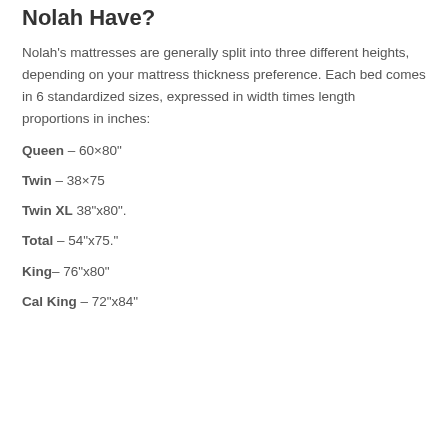Nolah Have?
Nolah's mattresses are generally split into three different heights, depending on your mattress thickness preference. Each bed comes in 6 standardized sizes, expressed in width times length proportions in inches:
Queen – 60×80"
Twin – 38×75
Twin XL 38"x80".
Total – 54"x75."
King– 76"x80"
Cal King – 72"x84"